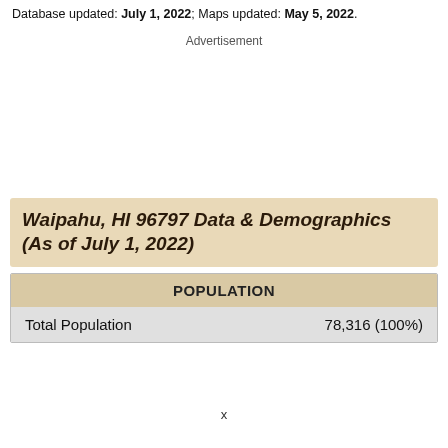Database updated: July 1, 2022; Maps updated: May 5, 2022.
Advertisement
Waipahu, HI 96797 Data & Demographics (As of July 1, 2022)
| POPULATION |  |
| --- | --- |
| Total Population | 78,316 (100%) |